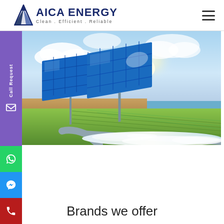[Figure (logo): AICA ENERGY logo with triangle/arrow graphic and tagline 'Clean . Efficient . Reliable']
[Figure (photo): Solar panels in an agricultural field with water flowing from a pipe irrigating green crops, sunny sky with clouds]
Brands we offer